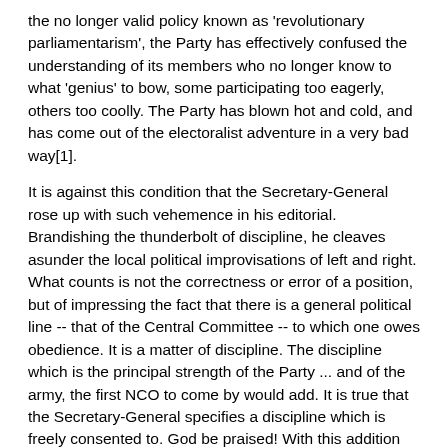the no longer valid policy known as 'revolutionary parliamentarism', the Party has effectively confused the understanding of its members who no longer know to what 'genius' to bow, some participating too eagerly, others too coolly. The Party has blown hot and cold, and has come out of the electoralist adventure in a very bad way[1].
It is against this condition that the Secretary-General rose up with such vehemence in his editorial. Brandishing the thunderbolt of discipline, he cleaves asunder the local political improvisations of left and right. What counts is not the correctness or error of a position, but of impressing the fact that there is a general political line -- that of the Central Committee -- to which one owes obedience. It is a matter of discipline. The discipline which is the principal strength of the Party ... and of the army, the first NCO to come by would add. It is true that the Secretary-General specifies a discipline which is freely consented to. God be praised! With this addition we are completely reassured...
What beneficial results have come in the wake of this call to discipline? From the south, from the north, from right and left, a growing number of militants have, in their own way, translated 'freely consented discipline' into freely executed resignations. The leaders of the ICP have told